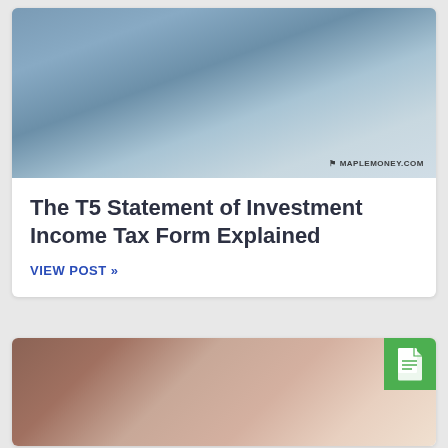[Figure (photo): Man in denim shirt sitting at desk, holding a smartphone in one hand and a paper document in the other, with a laptop in the background near a window. Watermark reads 'MapleMoney.com'.]
The T5 Statement of Investment Income Tax Form Explained
VIEW POST »
[Figure (photo): Woman with dark hair and glasses wearing a dark red top, writing with a pencil while looking downward, with a coffee cup in the foreground. A green document icon badge appears in the top-right corner.]